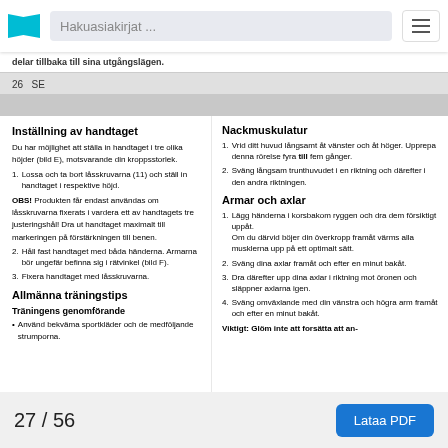Hakuasiakirjat ...
delar tillbaka till sina utgångslägen.
26  SE
Inställning av handtaget
Du har möjlighet att ställa in handtaget i tre olika höjder (bild E), motsvarande din kroppsstorlek.
1. Lossa och ta bort låsskruvarna (11) och ställ in handtaget i respektive höjd.
OBS! Produkten får endast användas om låsskruvarna fixerats i vardera ett av handtagets tre justeringshål! Dra ut handtaget maximalt till markeringen på förstärkningen till benen.
2. Håll fast handtaget med båda händerna. Armarna bör ungefär befinna sig i rätvinkel (bild F).
3. Fixera handtaget med låsskruvarna.
Allmänna träningstips
Träningens genomförande
• Använd bekväma sportkläder och de medföljande strumporna.
Nackmuskulatur
1. Vrid ditt huvud långsamt åt vänster och åt höger. Upprepa denna rörelse fyra till fem gånger.
2. Sväng långsam trunthuvudet i en riktning och därefter i den andra riktningen.
Armar och axlar
1. Lägg händerna i korsbakom ryggen och dra dem försiktigt uppåt. Om du därvid böjer din överkropp framåt värms alla musklerna upp på ett optimalt sätt.
2. Sväng dina axlar framåt och efter en minut bakåt.
3. Dra därefter upp dina axlar i riktning mot öronen och släpn er axlarna igen.
4. Sväng omväxlande med din vänstra och högra arm framåt och efter en minut bakåt.
Viktigt: Glöm inte att forsätta att an-
27 / 56